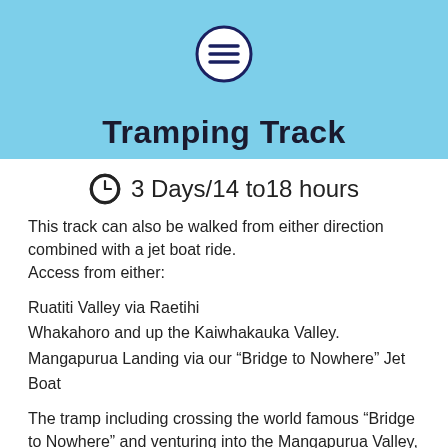Tramping Track
3 Days/14 to18 hours
This track can also be walked from either direction combined with a jet boat ride.
Access from either:
Ruatiti Valley via Raetihi
Whakahoro and up the Kaiwhakauka Valley.
Mangapurua Landing via our “Bridge to Nowhere” Jet Boat
The tramp including crossing the world famous “Bridge to Nowhere” and venturing into the Mangapurua Valley, now known as the “Valley of Abandoned Dreams”. This was the heart of the rehabilitation settlement where land was offered to returning soldiers following WW1. Pioneering